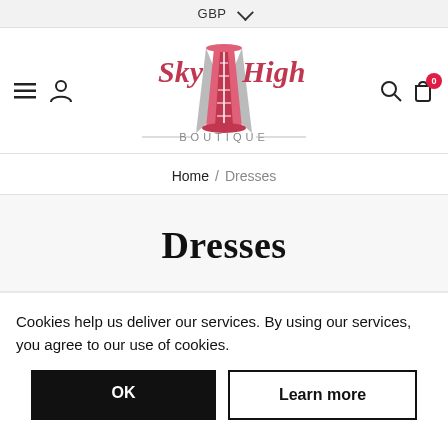GBP ∨
[Figure (logo): Sky High Boutique logo with corset graphic, pink and red script text and grey boutique wordmark]
Home / Dresses
Dresses
Cookies help us deliver our services. By using our services, you agree to our use of cookies.
OK   Learn more